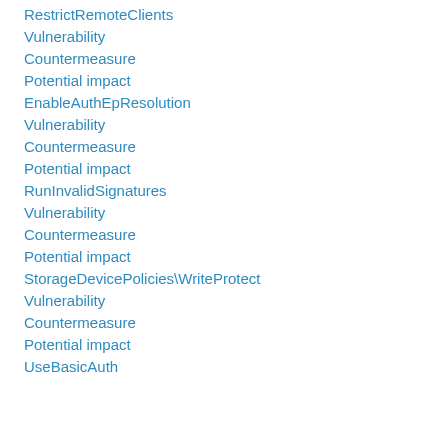RestrictRemoteClients
Vulnerability
Countermeasure
Potential impact
EnableAuthEpResolution
Vulnerability
Countermeasure
Potential impact
RunInvalidSignatures
Vulnerability
Countermeasure
Potential impact
StorageDevicePolicies\WriteProtect
Vulnerability
Countermeasure
Potential impact
UseBasicAuth